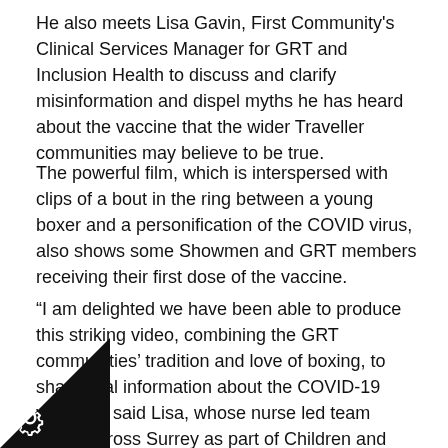He also meets Lisa Gavin, First Community's Clinical Services Manager for GRT and Inclusion Health to discuss and clarify misinformation and dispel myths he has heard about the vaccine that the wider Traveller communities may believe to be true.
The powerful film, which is interspersed with clips of a bout in the ring between a young boxer and a personification of the COVID virus, also shows some Showmen and GRT members receiving their first dose of the vaccine.
“I am delighted we have been able to produce this striking video, combining the GRT communities’ tradition and love of boxing, to share vital information about the COVID-19 vaccine,” said Lisa, whose nurse led team works across Surrey as part of Children and Family Health Surrey’s (CFHS) two year outreach project aiming to reduce health inequalities faced by Travellers.